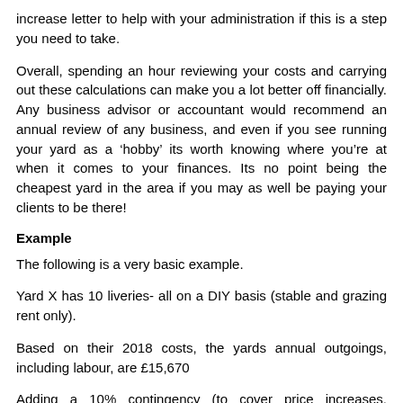increase letter to help with your administration if this is a step you need to take.
Overall, spending an hour reviewing your costs and carrying out these calculations can make you a lot better off financially. Any business advisor or accountant would recommend an annual review of any business, and even if you see running your yard as a ‘hobby’ its worth knowing where you’re at when it comes to your finances. Its no point being the cheapest yard in the area if you may as well be paying your clients to be there!
Example
The following is a very basic example.
Yard X has 10 liveries- all on a DIY basis (stable and grazing rent only).
Based on their 2018 costs, the yards annual outgoings, including labour, are £15,670
Adding a 10% contingency (to cover price increases, unforeseen costs etc) gives a total annual outgoing of £17,237...